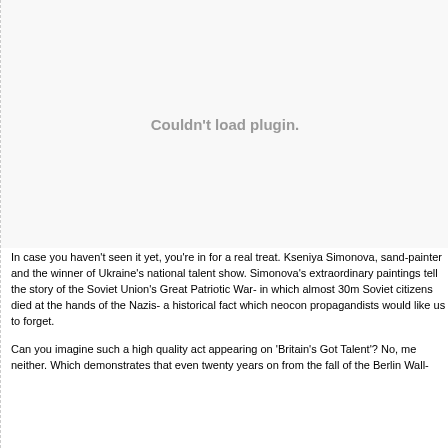[Figure (other): Plugin placeholder area showing 'Couldn't load plugin.' message in gray text on white/light gray background]
In case you haven't seen it yet, you're in for a real treat. Kseniya Simonova, sand-painter and the winner of Ukraine's national talent show. Simonova's extraordinary paintings tell the story of the Soviet Union's Great Patriotic War- in which almost 30m Soviet citizens died at the hands of the Nazis- a historical fact which neocon propagandists would like us to forget.
Can you imagine such a high quality act appearing on 'Britain's Got Talent'? No, me neither. Which demonstrates that even twenty years on from the fall of the Berlin Wall- alt- alt- during the former- isn't...